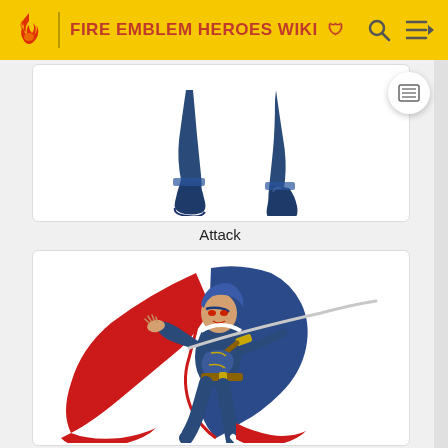FIRE EMBLEM HEROES WIKI
[Figure (illustration): Partial view of a game character's legs and boots in dark blue armor, cropped at the top of the page (attack pose legs)]
Attack
[Figure (illustration): Full attack pose illustration of Lucina from Fire Emblem Heroes, wearing blue cape with red lining, holding a long sword, lunging forward in dynamic pose]